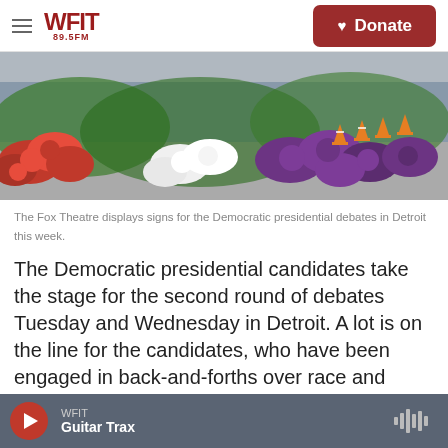WFIT 89.5FM | Donate
[Figure (photo): Colorful red, white, and purple flowers in the foreground with orange traffic cones and a street visible in the background — displayed in front of the Fox Theatre for the Democratic presidential debates in Detroit.]
The Fox Theatre displays signs for the Democratic presidential debates in Detroit this week.
The Democratic presidential candidates take the stage for the second round of debates Tuesday and Wednesday in Detroit. A lot is on the line for the candidates, who have been engaged in back-and-forths over race and health care coming into this round of debates.
WFIT | Guitar Trax